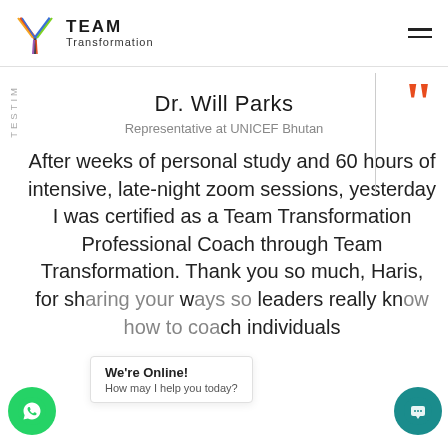[Figure (logo): Team Transformation logo with colorful Y-shaped mark and text 'TEAM Transformation']
Dr. Will Parks
Representative at UNICEF Bhutan
After weeks of personal study and 60 hours of intensive, late-night zoom sessions, yesterday I was certified as a Team Transformation Professional Coach through Team Transformation. Thank you so much, Haris, for sh[owing] w[orld] leaders really know how to coach individuals